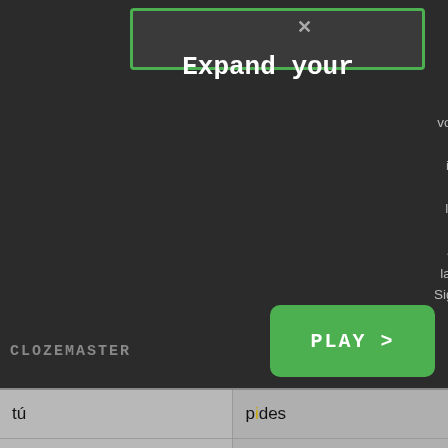[Figure (screenshot): Clozemaster app screenshot showing a modal overlay with a green-bordered search/input bar and close button, the text 'Expand your vocabulary and improve your listening skills in another language. Sign up and play for free!', a green PLAY button, and the CLOZEMASTER logo. Below is a conjugation table showing Spanish verb forms.]
Expand your
your vocabulary and improve your listening skills in another language. Sign up and play for free!
CLOZEMASTER
|  |  |
| --- | --- |
| tú | pides |
| él/ella/Usted | pide |
| nosotros | pedimos |